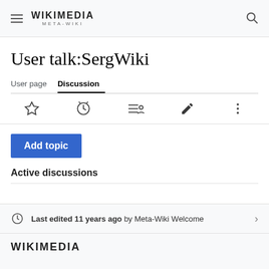WIKIMEDIA META-WIKI
User talk:SergWiki
User page  Discussion
[Figure (screenshot): Toolbar with star (watchlist), history clock, contributors list, pencil (edit), and three-dot menu icons]
Add topic
Active discussions
Last edited 11 years ago by Meta-Wiki Welcome
WIKIMEDIA